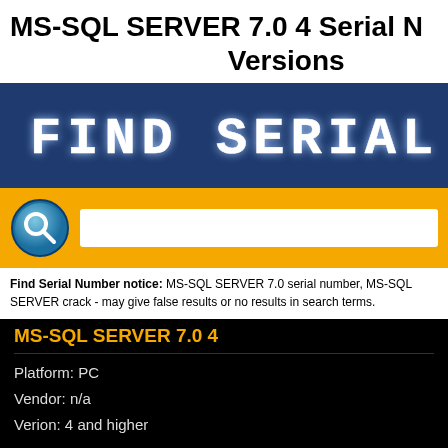MS-SQL SERVER 7.0 4 Serial N Versions
[Figure (screenshot): Blue banner with pixelated/dotted white text reading 'FIND SERIAL']
[Figure (screenshot): Orange search bar with magnifying glass icon and white text input field]
Find Serial Number notice: MS-SQL SERVER 7.0 serial number, MS-SQL SERVER crack - may give false results or no results in search terms.
MS-SQL SERVER 7.0 4
Platform: PC
Vendor: n/a
Verion: 4 and higher
Latest update: Tuesday, August 23, 2022